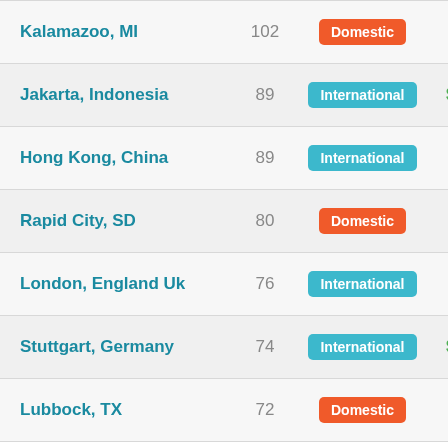| City | Count | Type | Price |
| --- | --- | --- | --- |
| Kalamazoo, MI | 102 | Domestic | $599 |
| Jakarta, Indonesia | 89 | International | $1,800 |
| Hong Kong, China | 89 | International | $667 |
| Rapid City, SD | 80 | Domestic | $690 |
| London, England Uk | 76 | International | $708 |
| Stuttgart, Germany | 74 | International | $1,249 |
| Lubbock, TX | 72 | Domestic | $540 |